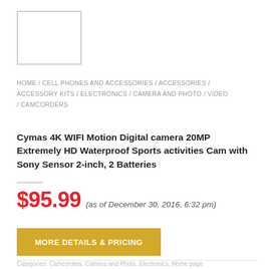[Figure (logo): Empty logo/image placeholder box with border]
HOME / CELL PHONES AND ACCESSORIES / ACCESSORIES / ACCESSORY KITS / ELECTRONICS / CAMERA AND PHOTO / VIDEO / CAMCORDERS
Cymas 4K WIFI Motion Digital camera 20MP Extremely HD Waterproof Sports activities Cam with Sony Sensor 2-inch, 2 Batteries
$95.99 (as of December 30, 2016, 6:32 pm)
MORE DETAILS & PRICING
Categories: Camcorders, Camera and Photo, Electronics, Home page